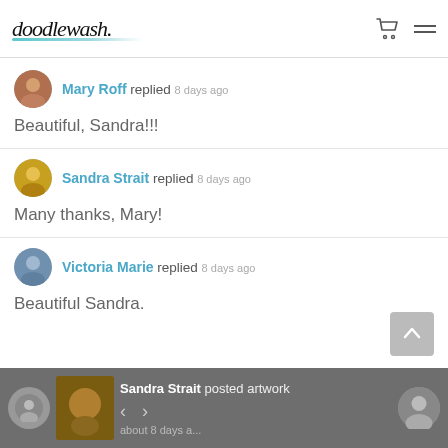doodlewash.
Mary Roff replied 8 days ago
Beautiful, Sandra!!!
Sandra Strait replied 8 days ago
Many thanks, Mary!
Victoria Marie replied 8 days ago
Beautiful Sandra.
Sandra Strait posted artwork